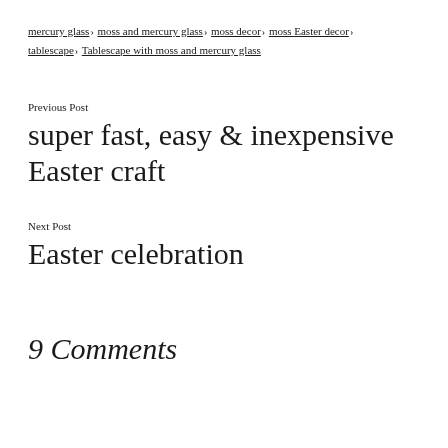mercury glass› moss and mercury glass› moss decor› moss Easter decor› tablescape› Tablescape with moss and mercury glass
Previous Post
super fast, easy & inexpensive Easter craft
Next Post
Easter celebration
9 Comments